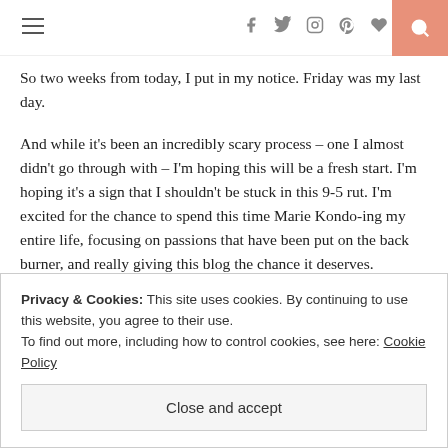Navigation header with hamburger menu, social icons (facebook, twitter, instagram, pinterest, heart), and search button
So two weeks from today, I put in my notice. Friday was my last day.
And while it’s been an incredibly scary process – one I almost didn’t go through with – I’m hoping this will be a fresh start. I’m hoping it’s a sign that I shouldn’t be stuck in this 9-5 rut. I’m excited for the chance to spend this time Marie Kondo-ing my entire life, focusing on passions that have been put on the back burner, and really giving this blog the chance it deserves.
Did you ditch the 9-5 to focus on something else? Are you thinking
Privacy & Cookies: This site uses cookies. By continuing to use this website, you agree to their use.
To find out more, including how to control cookies, see here: Cookie Policy
Close and accept